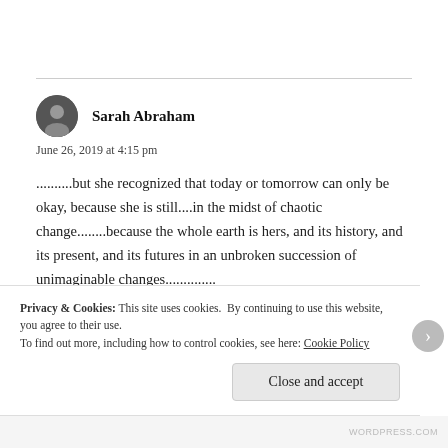Sarah Abraham
June 26, 2019 at 4:15 pm
..........but she recognized that today or tomorrow can only be okay, because she is still....in the midst of chaotic change........because the whole earth is hers, and its history, and its present, and its futures in an unbroken succession of unimaginable changes..............
Sarah
Privacy & Cookies: This site uses cookies. By continuing to use this website, you agree to their use.
To find out more, including how to control cookies, see here: Cookie Policy
Close and accept